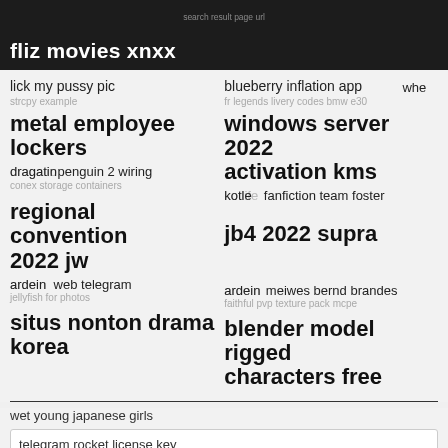fliz movies xnxx
lick my pussy pic / strcpy example
blueberry inflation app / fr legends livery codes bmw e30
metal employee lockers
windows server 2022 activation kms
dragatio penguin 2 wiring / conex storage containers
kotife fanfiction team foster / jb4 2022 supra
regional convention 2022 jw
deep web telegram / jellyfish for photos
ardein meiwes bernd brandes / faithful pvp texture pack mcpe
situs nonton drama korea
blender model rigged characters free
wet young japanese girls
telegram rocket license key